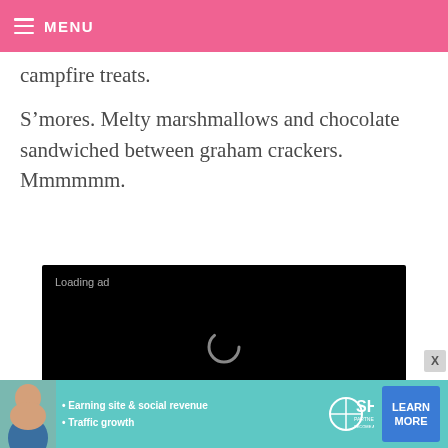MENU
campfire treats.
S’mores. Melty marshmallows and chocolate sandwiched between graham crackers. Mmmmmm.
[Figure (screenshot): Black video player with Loading ad text, spinning loader icon, and playback controls (pause, resize, mute).]
[Figure (infographic): SHE Partner Network advertisement banner with teal background. Bullet points: Earning site & social revenue, Traffic growth. SHE logo. LEARN MORE button.]